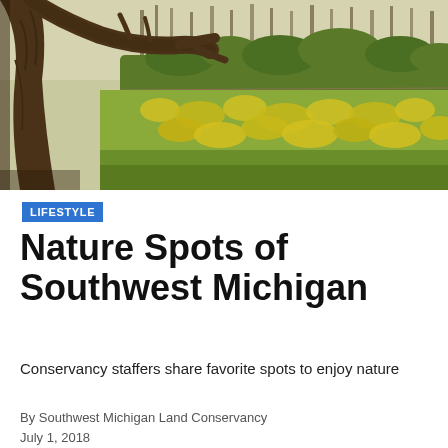[Figure (photo): Outdoor nature scene with a large gnarled tree trunk in the foreground on the left, a field of yellow wildflowers in the middle ground, and bare deciduous trees in the background under a pale sky.]
LIFESTYLE
Nature Spots of Southwest Michigan
Conservancy staffers share favorite spots to enjoy nature
By Southwest Michigan Land Conservancy
July 1, 2018